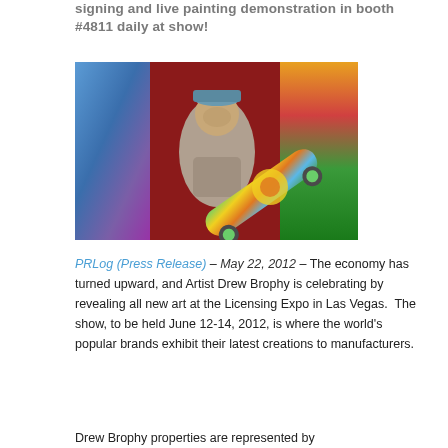signing and live painting demonstration in booth #4811 daily at show!
[Figure (photo): Man holding a painted skateboard with colorful artwork in the background]
PRLog (Press Release) – May 22, 2012 – The economy has turned upward, and Artist Drew Brophy is celebrating by revealing all new art at the Licensing Expo in Las Vegas.  The show, to be held June 12-14, 2012, is where the world's popular brands exhibit their latest creations to manufacturers.
Drew Brophy properties are represented by